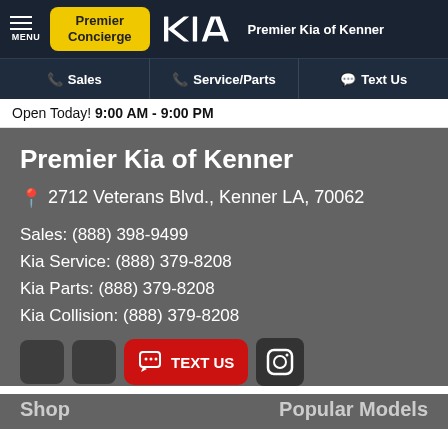Premier Concierge | Premier Kia of Kenner
Sales | Service/Parts | Text Us
Open Today! 9:00 AM - 9:00 PM
Premier Kia of Kenner
2712 Veterans Blvd., Kenner LA, 70062
Sales: (888) 398-9499
Kia Service: (888) 379-8208
Kia Parts: (888) 379-8208
Kia Collision: (888) 379-8208
TEXT US
Shop    Popular Models